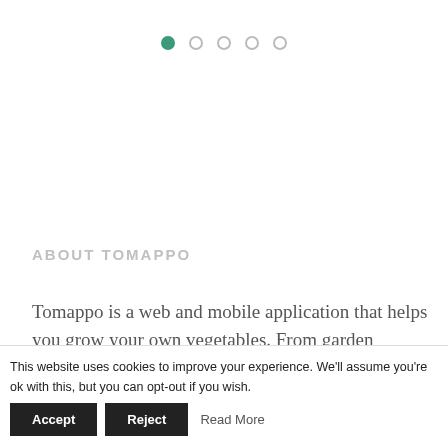[Figure (other): Pagination dots indicator: one filled green circle followed by four empty/outline circles arranged in a horizontal row]
ABOUT TOMAPPO
Tomappo is a web and mobile application that helps you grow your own vegetables. From garden planning to the care of the plants and cooking, it guides you through the whole gardening season. More ...
This website uses cookies to improve your experience. We'll assume you're ok with this, but you can opt-out if you wish. Accept Reject Read More